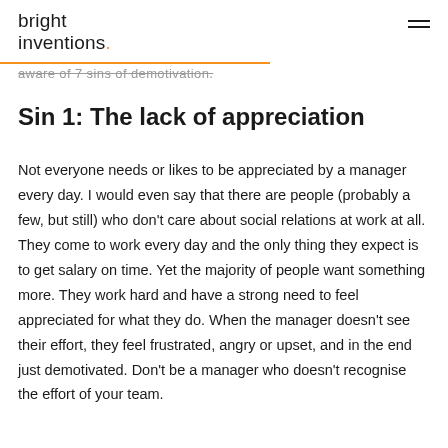bright inventions.
aware of 7 sins of demotivation.
Sin 1: The lack of appreciation
Not everyone needs or likes to be appreciated by a manager every day. I would even say that there are people (probably a few, but still) who don't care about social relations at work at all. They come to work every day and the only thing they expect is to get salary on time. Yet the majority of people want something more. They work hard and have a strong need to feel appreciated for what they do. When the manager doesn't see their effort, they feel frustrated, angry or upset, and in the end just demotivated. Don't be a manager who doesn't recognise the effort of your team.